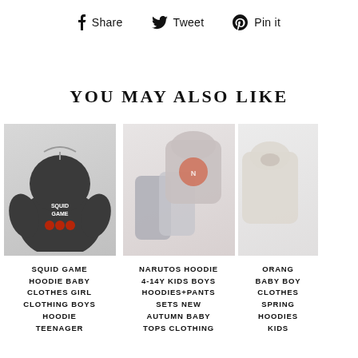Share  Tweet  Pin it
YOU MAY ALSO LIKE
[Figure (photo): Dark grey Squid Game hoodie on a hanger]
SQUID GAME HOODIE BABY CLOTHES GIRL CLOTHING BOYS HOODIE TEENAGER
[Figure (photo): Naruto kids hoodie and pants set displayed flat]
NARUTOS HOODIE 4-14Y KIDS BOYS HOODIES+PANTS SETS NEW AUTUMN BABY TOPS CLOTHING
[Figure (photo): Orange baby hoodie clothing set (partially visible)]
ORANG BABY BOY CLOTHES SPRING HOODIES KIDS